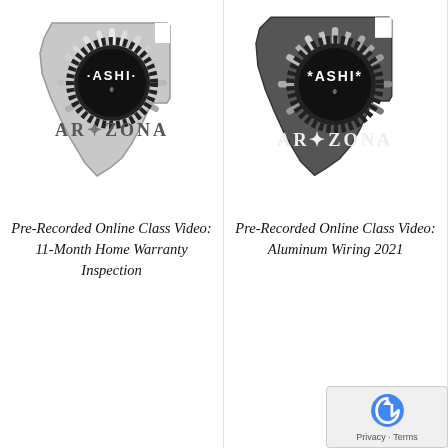[Figure (logo): ASHI Arizona logo - grayscale version showing Arizona state outline with sunburst pattern and ASHI circular badge with text ARIZONA below]
Pre-Recorded Online Class Video: 11-Month Home Warranty Inspection
[Figure (logo): ASHI Arizona logo - darker grayscale version showing Arizona state outline with sunburst pattern and ASHI circular badge with text ARIZONA below]
Pre-Recorded Online Class Video: Aluminum Wiring 2021